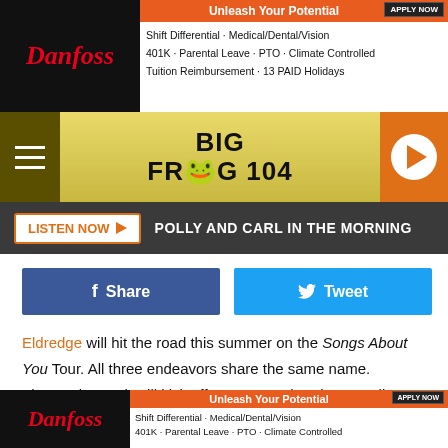[Figure (screenshot): Danfoss advertisement banner at top. Red Danfoss logo on left, photo of people, orange 'Unleash Your Potential' bar with 'APPLY NOW' button, text listing benefits: Shift Differential, Medical/Dental/Vision, 401K, Parental Leave, PTO, Climate Controlled, Tuition Reimbursement, 13 PAID Holidays]
[Figure (logo): Big Frog 104 radio station navigation bar with hamburger menu on left, Big Frog 104 logo in center, orange play button on right]
LISTEN NOW ▶  POLLY AND CARL IN THE MORNING
[Figure (infographic): Facebook Share button (dark blue) and Twitter Tweet button (light blue)]
Eldredge will hit the road this summer on the Songs About You Tour. All three endeavors share the same name.
The 24-date trek will kick off on June 19 in Wheaton, Ill. From there, the "Don't Ya" singer will zig-zag across the nation before wrapping the tour in Saginaw, Mich. on Sep. 24.
Tickets for the Songs About You Tour will go on sale Friday,
[Figure (screenshot): Danfoss advertisement banner at bottom. Red Danfoss logo on left, photo of people, orange 'Unleash Your Potential' bar with 'APPLY NOW' button, text listing benefits]